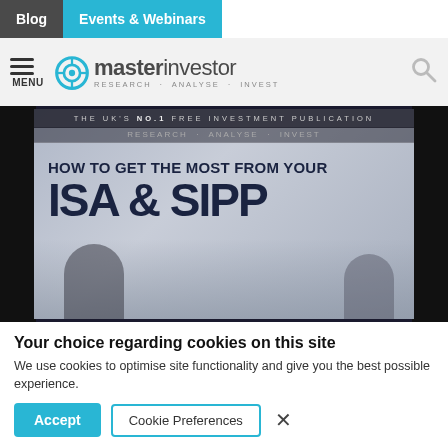Blog | Events & Webinars
[Figure (screenshot): Master Investor website header with hamburger menu, logo (circular target icon + 'masterinvestor' text + 'RESEARCH · ANALYSE · INVEST' tagline), and search icon]
[Figure (photo): Magazine cover showing 'THE UK'S NO.1 FREE INVESTMENT PUBLICATION' and headline 'HOW TO GET THE MOST FROM YOUR ISA & SIPP' with people in background]
Your choice regarding cookies on this site
We use cookies to optimise site functionality and give you the best possible experience.
Accept | Cookie Preferences | ×